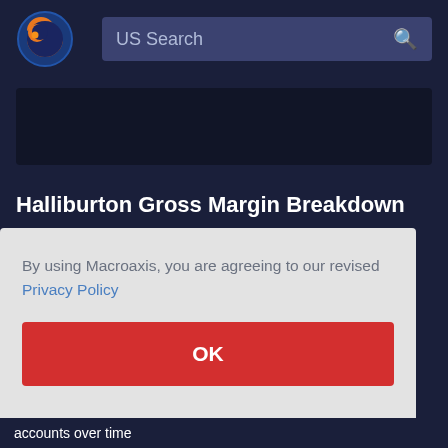US Search
[Figure (logo): Macroaxis globe logo — orange and blue sphere icon]
[Figure (other): Advertisement banner placeholder, dark background]
Halliburton Gross Margin Breakdown
By using Macroaxis, you are agreeing to our revised Privacy Policy
OK
accounts over time